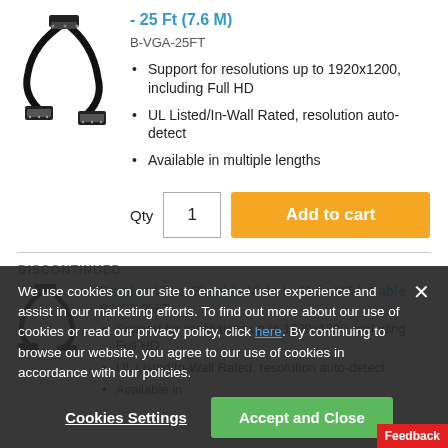[Figure (photo): VGA cable with two VGA connectors (male to male), black cable]
- 25 Ft (7.6 M)
B-VGA-25FT
Support for resolutions up to 1920x1200, including Full HD
UL Listed/In-Wall Rated, resolution auto-detect
Available in multiple lengths
Qty  1  Add to cart
DISCONTINUED
Bixolon Ultra Flexible Male to Male VGA Cable
B-VGA-25FT
Support for resolutions up to 1920x1200, including Full HD
UL Listed/In-Wall Rated, resolution auto-detect
Available in
We use cookies on our site to enhance user experience and assist in our marketing efforts. To find out more about our use of cookies or read our privacy policy, click here. By continuing to browse our website, you agree to our use of cookies in accordance with our policies.
Cookies Settings
Accept and Close
Feedback